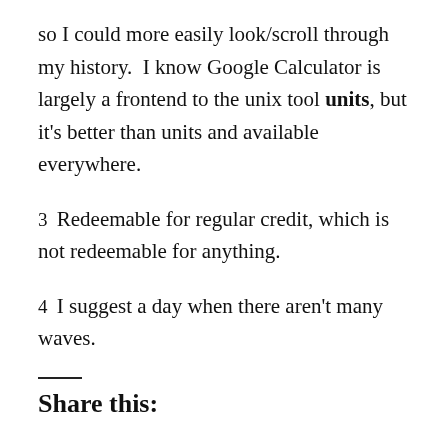so I could more easily look/scroll through my history.  I know Google Calculator is largely a frontend to the unix tool units, but it’s better than units and available everywhere.
3 Redeemable for regular credit, which is not redeemable for anything.
4 I suggest a day when there aren’t many waves.
Share this: